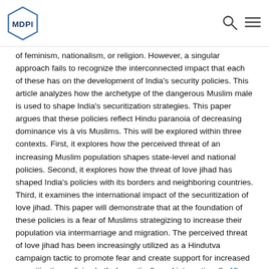MDPI
of feminism, nationalism, or religion. However, a singular approach fails to recognize the interconnected impact that each of these has on the development of India’s security policies. This article analyzes how the archetype of the dangerous Muslim male is used to shape India’s securitization strategies. This paper argues that these policies reflect Hindu paranoia of decreasing dominance vis à vis Muslims. This will be explored within three contexts. First, it explores how the perceived threat of an increasing Muslim population shapes state-level and national policies. Second, it explores how the threat of love jihad has shaped India’s policies with its borders and neighboring countries. Third, it examines the international impact of the securitization of love jihad. This paper will demonstrate that at the foundation of these policies is a fear of Muslims strategizing to increase their population via intermarriage and migration. The perceived threat of love jihad has been increasingly utilized as a Hindutva campaign tactic to promote fear and create support for increased securitization policies both domestically and internationally. View Full-Text
Keywords: love jihad; securitization; South Asia; India
This is an open access article distributed under the Creative Commons Attribution License which permits unrestricted